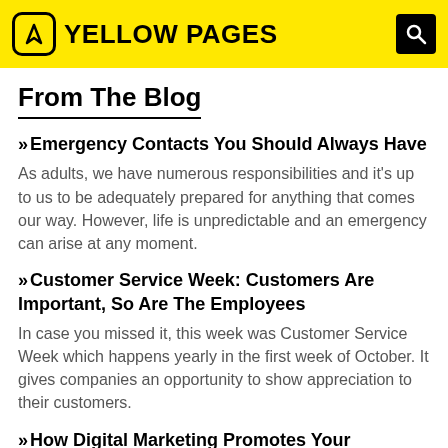YELLOW PAGES
From The Blog
Emergency Contacts You Should Always Have
As adults, we have numerous responsibilities and it's up to us to be adequately prepared for anything that comes our way. However, life is unpredictable and an emergency can arise at any moment.
Customer Service Week: Customers Are Important, So Are The Employees
In case you missed it, this week was Customer Service Week which happens yearly in the first week of October. It gives companies an opportunity to show appreciation to their customers.
How Digital Marketing Promotes Your Business
What do you know about digital marketing? You're